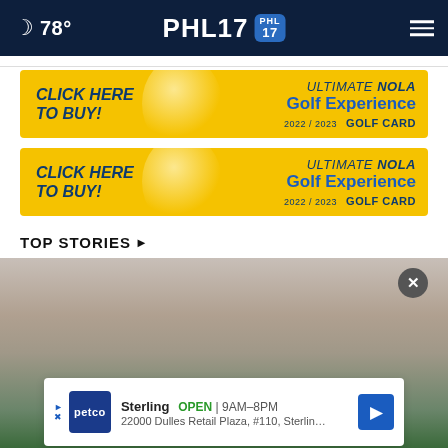78° PHL17 [PHL 17 logo]
[Figure (illustration): Yellow advertisement banner: CLICK HERE TO BUY! ULTIMATE NOLA Golf Experience 2022/2023 GOLF CARD]
[Figure (illustration): Yellow advertisement banner (duplicate): CLICK HERE TO BUY! ULTIMATE NOLA Golf Experience 2022/2023 GOLF CARD]
TOP STORIES ▸
[Figure (photo): Close-up photo of an elderly person's head with gray/white hair, with a circular close button overlay]
[Figure (illustration): Petco ad banner: Sterling OPEN 9AM–8PM, 22000 Dulles Retail Plaza, #110, Sterling]